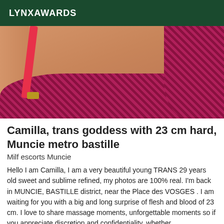LYNXAWARDS
[Figure (photo): Close-up photo of a person wearing a pink/magenta lace bra with a pink strap]
Camilla, trans goddess with 23 cm hard, Muncie metro bastille
Milf escorts Muncie
Hello I am Camilla, I am a very beautiful young TRANS 29 years old sweet and sublime refined, my photos are 100% real. I'm back in MUNCIE, BASTILLE district, near the Place des VOSGES . I am waiting for you with a big and long surprise of flesh and blood of 23 cm. I love to share massage moments, unforgettable moments so if you appreciate discretion and confidentiality, whether